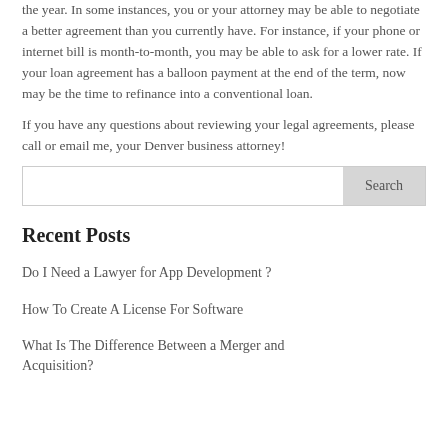the year. In some instances, you or your attorney may be able to negotiate a better agreement than you currently have. For instance, if your phone or internet bill is month-to-month, you may be able to ask for a lower rate. If your loan agreement has a balloon payment at the end of the term, now may be the time to refinance into a conventional loan.
If you have any questions about reviewing your legal agreements, please call or email me, your Denver business attorney!
Recent Posts
Do I Need a Lawyer for App Development ?
How To Create A License For Software
What Is The Difference Between a Merger and Acquisition?